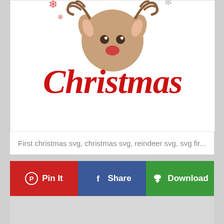[Figure (illustration): Christmas SVG illustration showing a reindeer with red 'Christmas' script text and snowflakes on white background]
First christmas svg, christmas svg, reindeer svg, svg fir...
[Figure (infographic): Three action buttons: Pin It (red with Pinterest icon), Share (blue with Facebook icon), Download (green with download icon)]
[Figure (other): Gray advertisement/content placeholder area]